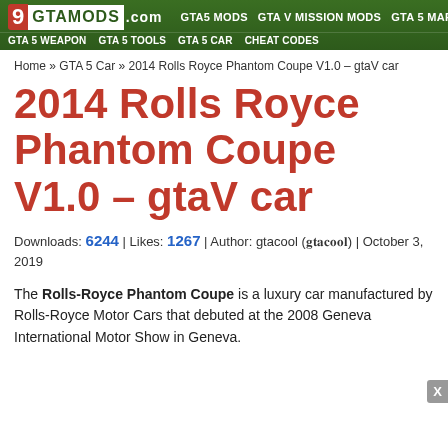GTA5 MODS | GTA V MISSION MODS | GTA 5 MAPS | PAINT JOB MODS | GTA 5 WEAPON | GTA 5 TOOLS | GTA 5 CAR | CHEAT CODES
Home » GTA 5 Car » 2014 Rolls Royce Phantom Coupe V1.0 – gtaV car
2014 Rolls Royce Phantom Coupe V1.0 – gtaV car
Downloads: 6244 | Likes: 1267 | Author: gtacool (𝐠𝐭𝐚𝐜𝐨𝐨𝐥) | October 3, 2019
The Rolls-Royce Phantom Coupe is a luxury car manufactured by Rolls-Royce Motor Cars that debuted at the 2008 Geneva International Motor Show in Geneva.